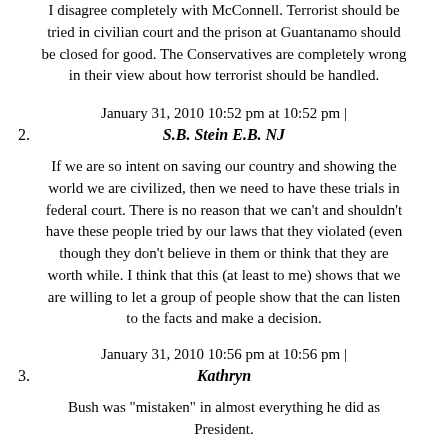I disagree completely with McConnell. Terrorist should be tried in civilian court and the prison at Guantanamo should be closed for good. The Conservatives are completely wrong in their view about how terrorist should be handled.
January 31, 2010 10:52 pm at 10:52 pm |
2. S.B. Stein E.B. NJ
If we are so intent on saving our country and showing the world we are civilized, then we need to have these trials in federal court. There is no reason that we can't and shouldn't have these people tried by our laws that they violated (even though they don't believe in them or think that they are worth while. I think that this (at least to me) shows that we are willing to let a group of people show that the can listen to the facts and make a decision.
January 31, 2010 10:56 pm at 10:56 pm |
3. Kathryn
Bush was "mistaken" in almost everything he did as President.
January 31, 2010 11:03 pm at 11:03 pm |
4. Brendan H., San Antonio, TX